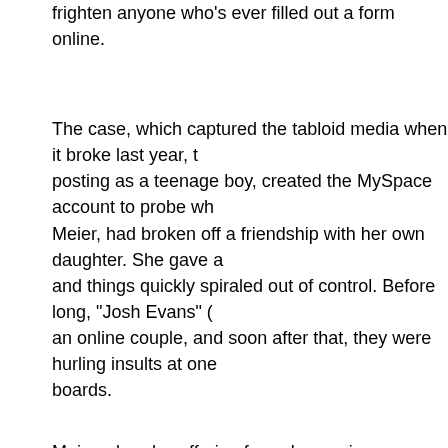frighten anyone who's ever filled out a form online.
The case, which captured the tabloid media when it broke last year, posting as a teenage boy, created the MySpace account to probe wh Meier, had broken off a friendship with her own daughter. She gave a and things quickly spiraled out of control. Before long, "Josh Evans" ( an online couple, and soon after that, they were hurling insults at one boards.
Meier, already suffering from depression, was devastated by Josh's t from the Evans account–"The world would be a better place without y Twenty minutes after receiving it, Meier hung herself in her closet.
Even though she was not responsible for the worst of the messages investigated the case but declined to file charged), Lori Drew mislead and that was surely wrong.
But it's more problematic to say that it's a crime.
The theory of the prosecutor behind this case would make all Interne Drew lied when she created the "Josh Evans" account. That was a vi